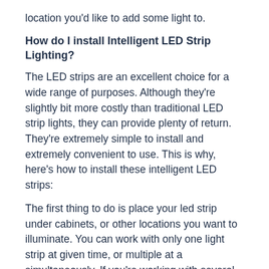location you'd like to add some light to.
How do I install Intelligent LED Strip Lighting?
The LED strips are an excellent choice for a wide range of purposes. Although they're slightly bit more costly than traditional LED strip lights, they can provide plenty of return. They're extremely simple to install and extremely convenient to use. This is why, here's how to install these intelligent LED strips:
The first thing to do is place your led strip under cabinets, or other locations you want to illuminate. You can work with only one light strip at given time, or multiple at a simultaneously. If you're working with several strips, you could join them by connecting the negative and positive ends of the strips.